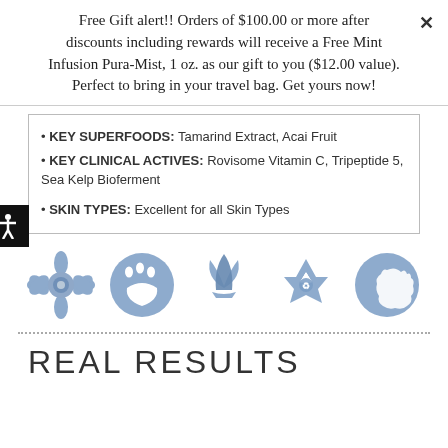Free Gift alert!! Orders of $100.00 or more after discounts including rewards will receive a Free Mint Infusion Pura-Mist, 1 oz. as our gift to you ($12.00 value). Perfect to bring in your travel bag. Get yours now!
KEY SUPERFOODS: Tamarind Extract, Acai Fruit
KEY CLINICAL ACTIVES: Rovisome Vitamin C, Tripeptide 5, Sea Kelp Bioferment
SKIN TYPES: Excellent for all Skin Types
[Figure (illustration): Five circular blue icons: sunflower, paw print, lotus/leaf, recycling arrows, California bear symbol]
REAL RESULTS